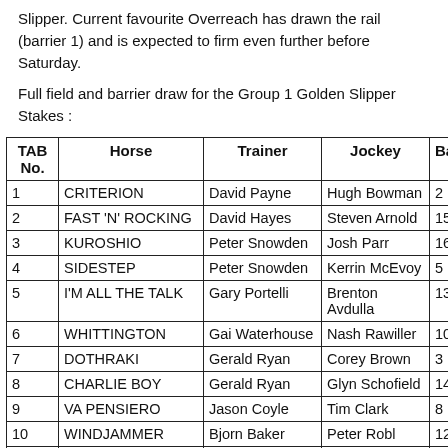Slipper. Current favourite Overreach has drawn the rail (barrier 1) and is expected to firm even further before Saturday.
Full field and barrier draw for the Group 1 Golden Slipper Stakes :
| TAB No. | Horse | Trainer | Jockey | Ba |
| --- | --- | --- | --- | --- |
| 1 | CRITERION | David Payne | Hugh Bowman | 2 |
| 2 | FAST 'N' ROCKING | David Hayes | Steven Arnold | 15 |
| 3 | KUROSHIO | Peter Snowden | Josh Parr | 16 |
| 4 | SIDESTEP | Peter Snowden | Kerrin McEvoy | 5 |
| 5 | I'M ALL THE TALK | Gary Portelli | Brenton Avdulla | 13 |
| 6 | WHITTINGTON | Gai Waterhouse | Nash Rawiller | 10 |
| 7 | DOTHRAKI | Gerald Ryan | Corey Brown | 3 |
| 8 | CHARLIE BOY | Gerald Ryan | Glyn Schofield | 14 |
| 9 | VA PENSIERO | Jason Coyle | Tim Clark | 8 |
| 10 | WINDJAMMER | Bjorn Baker | Peter Robl | 12 |
| 11 | OVERREACH | Gai Waterhouse | Tommy Berry | 1 |
| 12 | RUUD AWAKENING | Shaun Marsh | Craig Williams | 18 |